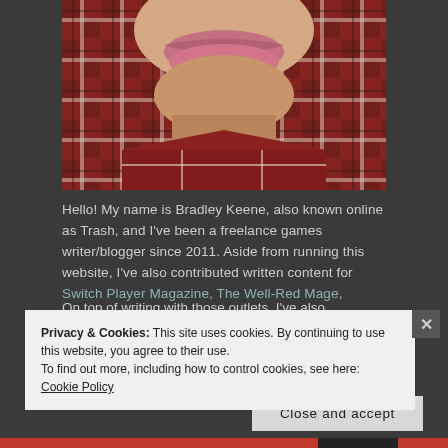[Figure (photo): Close-up photo of a person's mouth/chin area with lip piercing, wearing a plaid flannel shirt in red/black/white pattern]
Hello! My name is Bradley Keene, also known online as Trash, and I've been a freelance games writer/blogger since 2011. Aside from running this website, I've also contributed written content for Switch Player Magazine, The Well-Red Mage, Simply Binge (while it was known as The Buttonsmashers), and the now-defunct Xbox fansite What's Your Tag?
Privacy & Cookies: This site uses cookies. By continuing to use this website, you agree to their use.
To find out more, including how to control cookies, see here:
Cookie Policy
Close and accept